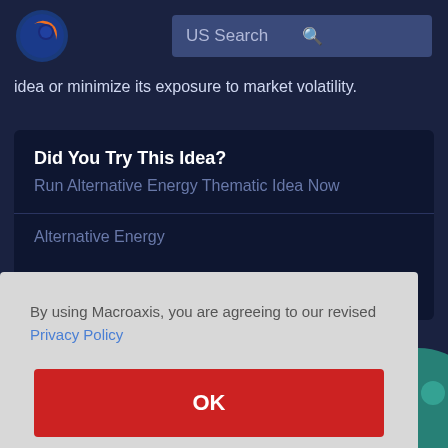[Figure (logo): Macroaxis logo: orange and blue globe icon]
US Search
idea or minimize its exposure to market volatility.
Did You Try This Idea?
Run Alternative Energy Thematic Idea Now
Alternative Energy
By using Macroaxis, you are agreeing to our revised Privacy Policy
OK